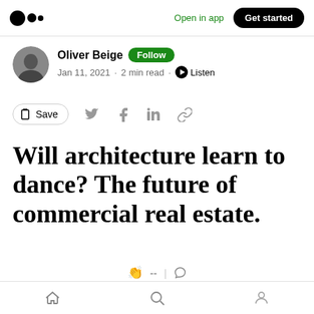Medium logo | Open in app | Get started
Oliver Beige · Follow · Jan 11, 2021 · 2 min read · Listen
Save (social share icons)
Will architecture learn to dance? The future of commercial real estate.
I was recently asked what was the most obvious
Home | Search | Profile